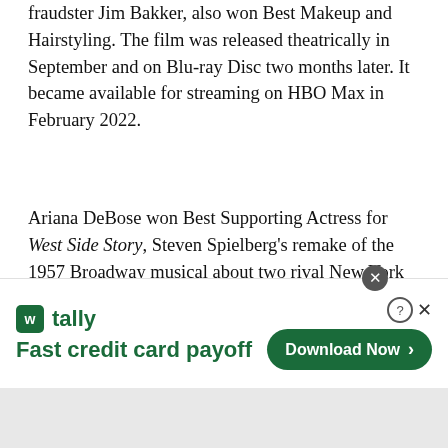fraudster Jim Bakker, also won Best Makeup and Hairstyling. The film was released theatrically in September and on Blu-ray Disc two months later. It became available for streaming on HBO Max in February 2022.
Ariana DeBose won Best Supporting Actress for West Side Story, Steven Spielberg's remake of the 1957 Broadway musical about two rival New York City street gangs. The film was released theatrically in December 2021 and became available to stream on Disney+ and HBO Max on March 2. The film was released on DVD, Blu-ray Disc and 4K Ultra HD Blu-ray on March 15. DeBose won for playing Anita, the same role for which Rita Moreno won the same award for playing in the 1961 movie adaptation
[Figure (other): Advertisement banner for Tally app - 'Fast credit card payoff' with Download Now button]